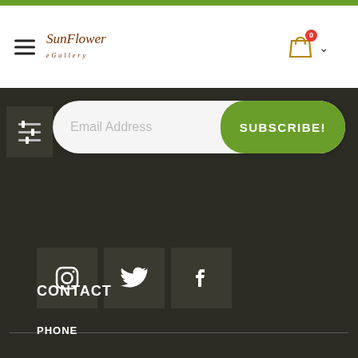SunFlower Gallery - navigation bar with hamburger menu, logo, cart icon with badge 0
[Figure (screenshot): Email subscription form with placeholder 'Email Address' and green SUBSCRIBE! button, with filter/sliders icon on the left]
[Figure (infographic): Social media icons: Instagram, Twitter, Facebook in dark square boxes]
CONTACT
PHONE